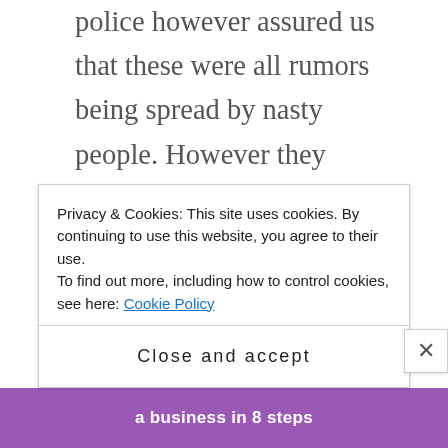police however assured us that these were all rumors being spread by nasty people. However they refused to die. Soon a newspaper, The Tribune, did a story on how women travellers coming to Delhi were dragged out of their cars by mobs on a National Highway 1 at Murthal in Sonepat district of Haryana and gang raped by mobs. That the paper reported this happened only about 2 hours from Delhi, near a very popular eating spot, made it more shocking. But the Haryana government and the police breezily denied these, ignoring that the newspaper was an established one, and not given to salacious stories.
Privacy & Cookies: This site uses cookies. By continuing to use this website, you agree to their use. To find out more, including how to control cookies, see here: Cookie Policy
Close and accept